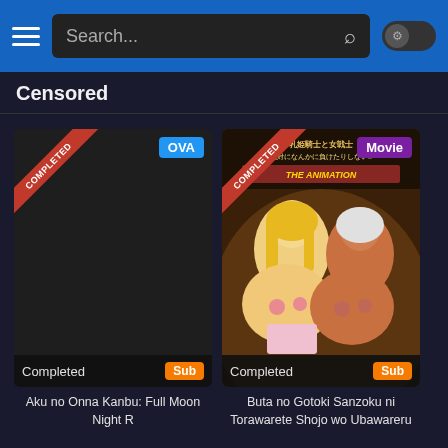Search...
Censored
[Figure (screenshot): Anime content card 1: dark thumbnail with COMPLETED ribbon and OVA badge, showing Completed status and Sub tag. Title: Aku no Onna Kanbu: Full Moon Night R]
[Figure (screenshot): Anime content card 2: illustrated anime artwork with COMPLETED ribbon and Movie badge, showing Completed status and Sub tag. Title: Buta no Gotoki Sanzoku ni Torawarete Shojo wo Ubawareru]
Aku no Onna Kanbu: Full Moon Night R
Buta no Gotoki Sanzoku ni Torawarete Shojo wo Ubawareru